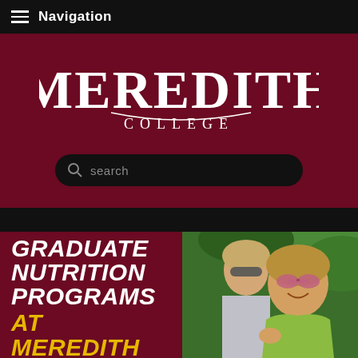Navigation
[Figure (logo): Meredith College logo with large serif MEREDITH text and smaller COLLEGE text below, white on dark maroon background]
[Figure (screenshot): Search bar with magnifying glass icon and placeholder text 'search' on black rounded rectangle]
GRADUATE NUTRITION PROGRAMS AT MEREDITH
[Figure (photo): Two women outdoors, one wearing sunglasses and a yellow-green top, smiling, with green foliage in background]